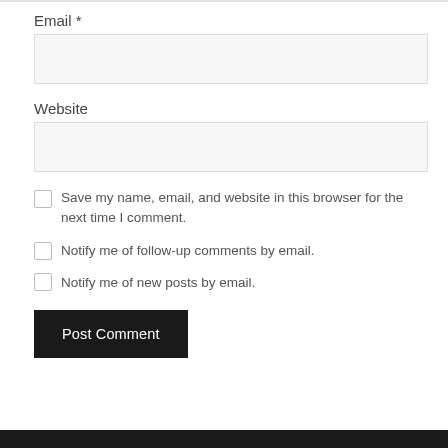Email *
Website
Save my name, email, and website in this browser for the next time I comment.
Notify me of follow-up comments by email.
Notify me of new posts by email.
Post Comment